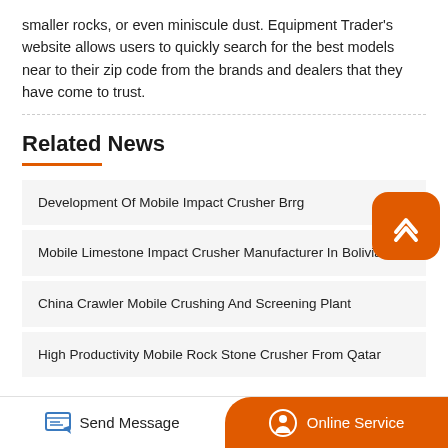smaller rocks, or even miniscule dust. Equipment Trader's website allows users to quickly search for the best models near to their zip code from the brands and dealers that they have come to trust.
Related News
Development Of Mobile Impact Crusher Brrg
Mobile Limestone Impact Crusher Manufacturer In Bolivia
China Crawler Mobile Crushing And Screening Plant
High Productivity Mobile Rock Stone Crusher From Qatar